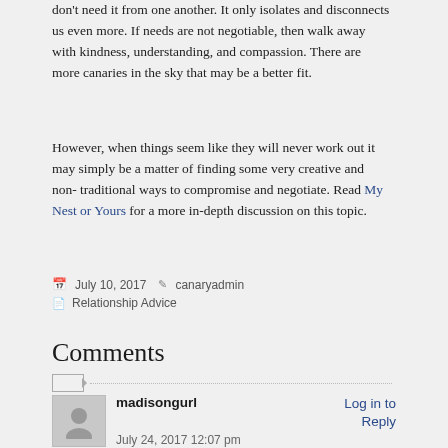don't need it from one another. It only isolates and disconnects us even more. If needs are not negotiable, then walk away with kindness, understanding, and compassion. There are more canaries in the sky that may be a better fit.
However, when things seem like they will never work out it may simply be a matter of finding some very creative and non-traditional ways to compromise and negotiate. Read My Nest or Yours for a more in-depth discussion on this topic.
July 10, 2017  canaryadmin  Relationship Advice
Comments
madisongurl  Log in to Reply  July 24, 2017 12:07 pm